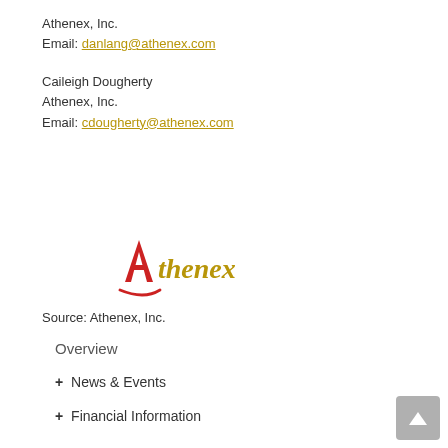Athenex, Inc.
Email: danlang@athenex.com
Caileigh Dougherty
Athenex, Inc.
Email: cdougherty@athenex.com
[Figure (logo): Athenex logo — stylized red letter A with gold/amber company name text and red swoosh underline]
Source: Athenex, Inc.
Overview
+ News & Events
+ Financial Information